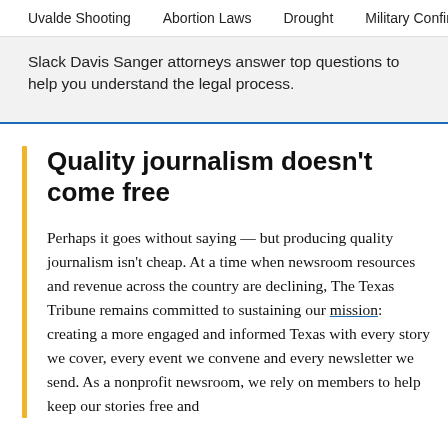Uvalde Shooting   Abortion Laws   Drought   Military Confinement
Slack Davis Sanger attorneys answer top questions to help you understand the legal process.
Quality journalism doesn't come free
Perhaps it goes without saying — but producing quality journalism isn't cheap. At a time when newsroom resources and revenue across the country are declining, The Texas Tribune remains committed to sustaining our mission: creating a more engaged and informed Texas with every story we cover, every event we convene and every newsletter we send. As a nonprofit newsroom, we rely on members to help keep our stories free and